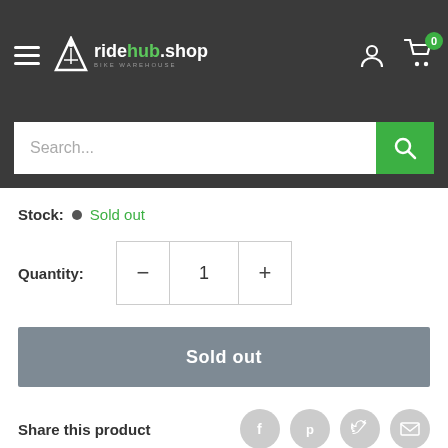ridehub.shop — navigation bar with logo, hamburger menu, account icon, cart icon with badge 0
Search...
Stock: • Sold out
Quantity: 1
Sold out
Share this product
Description